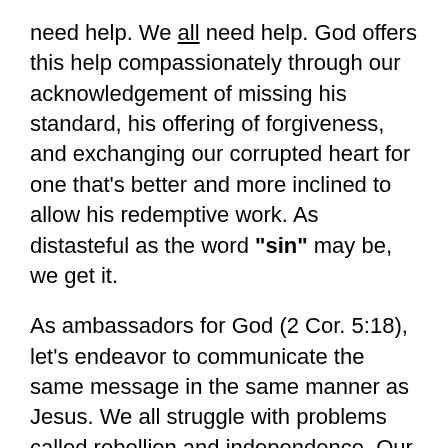need help. We all need help. God offers this help compassionately through our acknowledgement of missing his standard, his offering of forgiveness, and exchanging our corrupted heart for one that's better and more inclined to allow his redemptive work. As distasteful as the word "sin" may be, we get it.
As ambassadors for God (2 Cor. 5:18), let's endeavor to communicate the same message in the same manner as Jesus. We all struggle with problems called rebellion and independence. Our problems are larger than "mistakes." We resist the notion of God or that there is a God who loves us and desires to show us favor. We have a hard time admitting the need for and receiving help from God.
Surely the effects of sin are worse than the word itself. Like death and taxes, sin impacts all our lives so we need not be afraid to use the word. We just don't use it as a sledgehammer or pretend we are exempt from it. Perhaps a more interesting question is where...